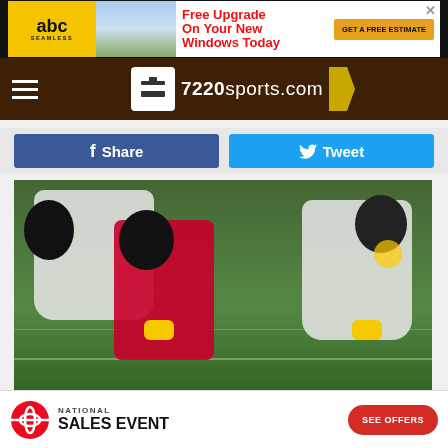[Figure (screenshot): ABC Seamless advertisement banner — Free Upgrade On Your New Windows Today with Get a Free Estimate button]
[Figure (logo): 7220sports.com website navigation bar with hamburger menu and logo]
[Figure (other): Facebook Share and Twitter Tweet social sharing buttons]
[Figure (photo): NFL football game action photo — Pittsburgh Steelers players (white uniforms) tackling a Buffalo Bills player (red uniform) on the field]
[Figure (screenshot): Toyota National Sales Event advertisement banner with See Offers button]